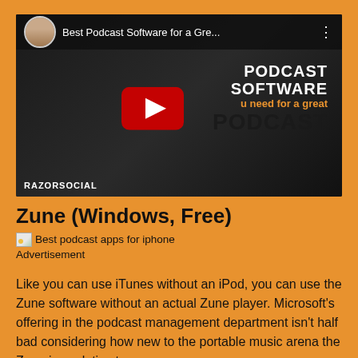[Figure (screenshot): YouTube video thumbnail showing a man in black shirt with a microphone, titled 'Best Podcast Software for a Gre...' with PODCAST SOFTWARE overlay text and a YouTube play button. RazorSocial watermark at bottom left.]
Zune (Windows, Free)
[Figure (photo): Small broken/loading image icon followed by text 'Best podcast apps for iphone']
Advertisement
Like you can use iTunes without an iPod, you can use the Zune software without an actual Zune player. Microsoft's offering in the podcast management department isn't half bad considering how new to the portable music arena the Zune is—relative to